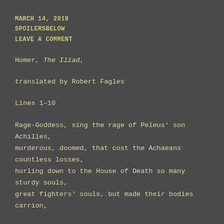MARCH 14, 2019
SPOILERSBELOW
LEAVE A COMMENT
Homer, The Iliad,
translated by Robert Fagles
Lines 1–10
Rage-Goddess, sing the rage of Peleus' son Achilles,
murderous, doomed, that cost the Achaeans countless losses,
hurling down to the House of Death so many sturdy souls,
great fighters' souls, but made their bodies carrion,